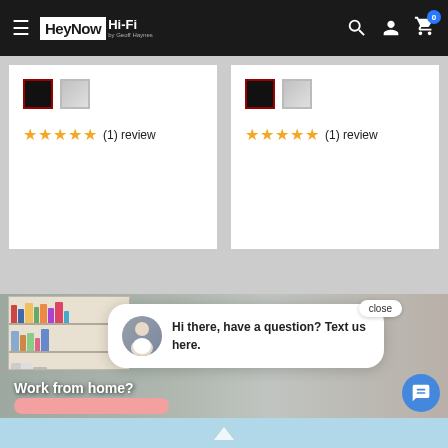HeyNow Hi-Fi by Geoff Haynes — navigation header with hamburger menu, search, account, and cart (0 items) icons
[Figure (screenshot): Product card left: two color swatches (black selected with red border, silver), 5-star rating with (1) review label]
[Figure (screenshot): Product card right: two color swatches (black selected with red border, silver), 5-star rating with (1) review label]
[Figure (screenshot): Room/home office background image with bookshelf, person sitting at desk, piano, text 'Work from home?' overlaid, pink button partially visible at bottom]
close
Hi there, have a question? Text us here.
Light blue bar at bottom of page with upward arrow